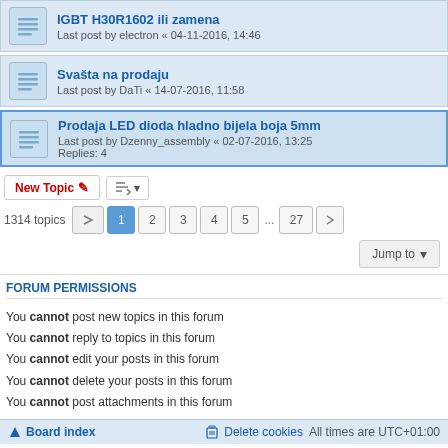IGBT H30R1602 ili zamena — Last post by electron « 04-11-2016, 14:46
Svašta na prodaju — Last post by DaTi « 14-07-2016, 11:58
Prodaja LED dioda hladno bijela boja 5mm — Last post by Dzenny_assembly « 02-07-2016, 13:25 — Replies: 4
1314 topics  1 2 3 4 5 ... 27
Jump to
FORUM PERMISSIONS
You cannot post new topics in this forum
You cannot reply to topics in this forum
You cannot edit your posts in this forum
You cannot delete your posts in this forum
You cannot post attachments in this forum
Board index | Delete cookies | All times are UTC+01:00
Powered by phpBB® Forum Software © phpBB Limited
Privacy | Terms